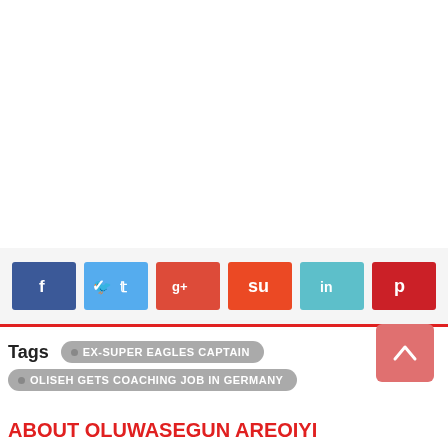[Figure (other): White blank area at top of page]
Social share buttons: Facebook, Twitter, Google+, StumbleUpon, LinkedIn, Pinterest
Tags  EX-SUPER EAGLES CAPTAIN  OLISEH GETS COACHING JOB IN GERMANY
ABOUT OLUWASEGUN AREOIYI